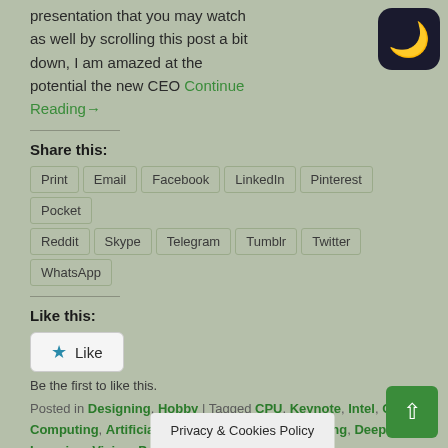presentation that you may watch as well by scrolling this post a bit down, I am amazed at the potential the new CEO Continue Reading→
Share this:
Print | Email | Facebook | LinkedIn | Pinterest | Pocket | Reddit | Skype | Telegram | Tumblr | Twitter | WhatsApp
Like this:
Like
Be the first to like this.
Posted in Designing, Hobby | Tagged CPU, Keynote, Intel, GPU-Computing, Artificial Inteligence, Machine Learning, Deep Learning, Vision, Performance, GPU
The Best Ches…
Privacy & Cookies Policy